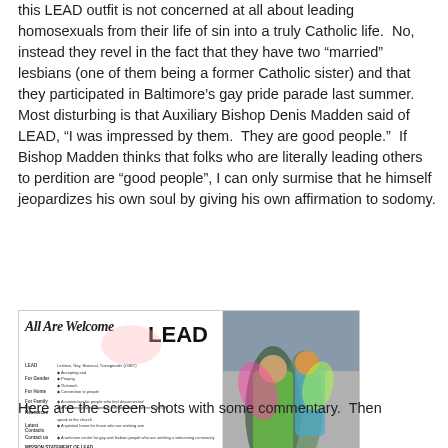this LEAD outfit is not concerned at all about leading homosexuals from their life of sin into a truly Catholic life.  No, instead they revel in the fact that they have two "married" lesbians (one of them being a former Catholic sister) and that they participated in Baltimore's gay pride parade last summer.  Most disturbing is that Auxiliary Bishop Denis Madden said of LEAD, "I was impressed by them.  They are good people."  If Bishop Madden thinks that folks who are literally leading others to perdition are "good people", I can only surmise that he himself jeopardizes his own soul by giving his own affirmation to sodomy.
[Figure (screenshot): Screenshot of a LEAD (Lesbian, Gay, Bisexual, Transgender outreach) brochure titled 'All Are Welcome' on the left panel with text content, and a photo of people at what appears to be a gay pride event on the right panel.]
Here are the screen shots with some commentary.  Then